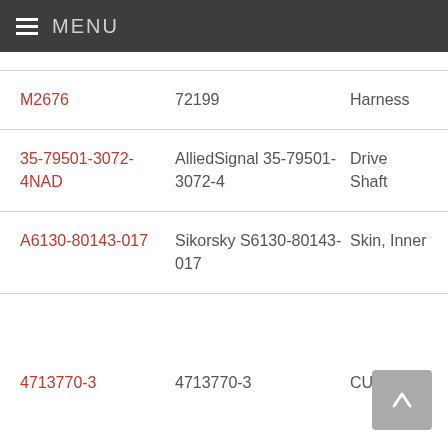MENU
| Part Number | Description | Category |
| --- | --- | --- |
| M2676 | 72199 | Harness |
| 35-79501-3072-4NAD | AlliedSignal 35-79501-3072-4 | Drive Shaft |
| A6130-80143-017 | Sikorsky S6130-80143-017 | Skin, Inner |
| 4713770-3 | 4713770-3 | CUSHION |